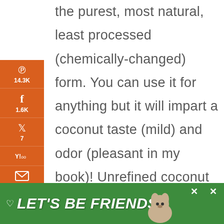the purest, most natural, least processed (chemically-changed) form. You can use it for anything but it will impart a coconut taste (mild) and odor (pleasant in my book)! Unrefined coconut oil retains the most nutritional value and is superior to refined oil.
[Figure (infographic): Orange social sharing sidebar with Pinterest (14.3K), Facebook (1.6K), Twitter (7), Yahoo, Email, Print icons and share counts. Bottom shows 15.8K SHARES total.]
[Figure (infographic): Green advertisement banner at bottom reading LET'S BE FRIENDS with a husky dog image and close buttons]